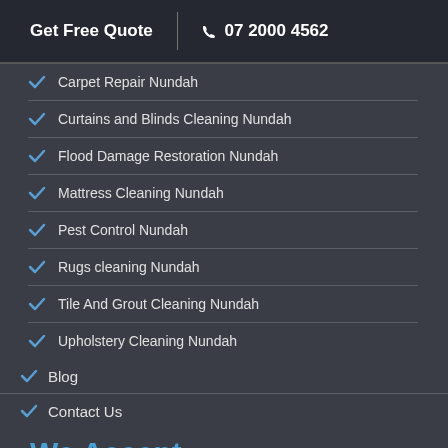Get Free Quote  |  ☎ 07 2000 4562
Carpet Repair Nundah
Curtains and Blinds Cleaning Nundah
Flood Damage Restoration Nundah
Mattress Cleaning Nundah
Pest Control Nundah
Rugs cleaning Nundah
Tile And Grout Cleaning Nundah
Upholstery Cleaning Nundah
Blog
Contact Us
We Accept